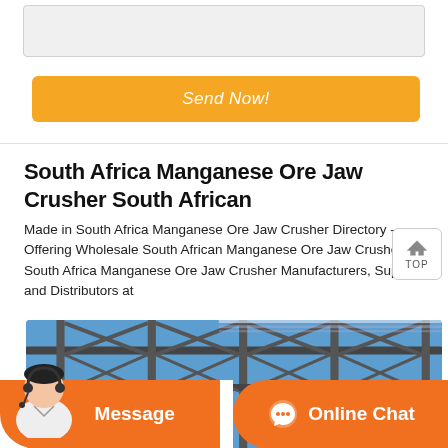[Figure (other): Gray input text box area]
Send Now!
South Africa Manganese Ore Jaw Crusher South African
Made in South Africa Manganese Ore Jaw Crusher Directory - Offering Wholesale South African Manganese Ore Jaw Crusher from South Africa Manganese Ore Jaw Crusher Manufacturers, Suppliers and Distributors at
[Figure (photo): Steel lattice structure against blue sky - industrial scaffolding]
Message
Online Chat